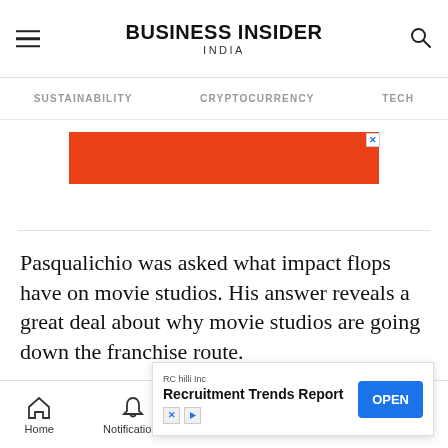BUSINESS INSIDER INDIA
SUSTAINABILITY   CRYPTOCURRENCY   TECH
[Figure (screenshot): Orange advertisement banner with X close button]
Pasqualichio was asked what impact flops have on movie studios. His answer reveals a great deal about why movie studios are going down the franchise route.
In sho... ppeal to an...
[Figure (screenshot): Popup ad: RC hilli Inc Recruitment Trends Report with OPEN button]
Home   Notifications   Newsletters   Next   Share